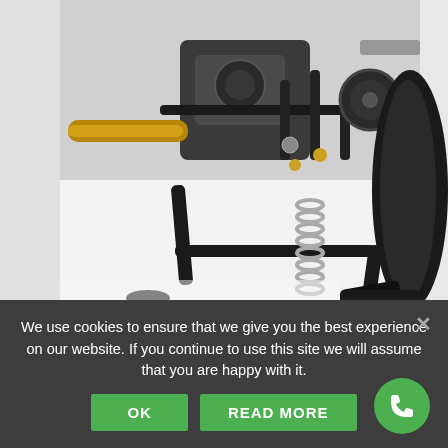[Figure (photo): Close-up photo of a motorcycle center stand/kickstand mechanism showing black metal frame, exhaust pipe, engine components, chain, tire, and a coiled spring on the stand.]
We use cookies to ensure that we give you the best experience on our website. If you continue to use this site we will assume that you are happy with it.